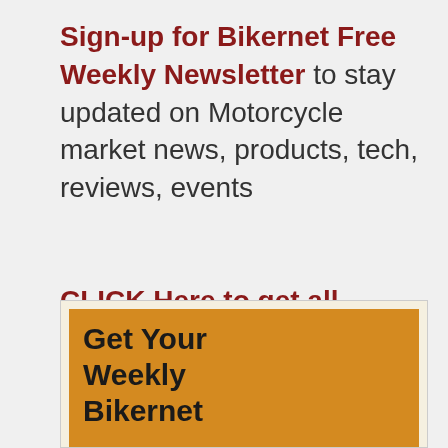Sign-up for Bikernet Free Weekly Newsletter to stay updated on Motorcycle market news, products, tech, reviews, events
CLICK Here to get all motorcycle industry updates once a week – its FREE!!!
[Figure (other): Orange advertisement banner reading 'Get Your Weekly Bikernet']